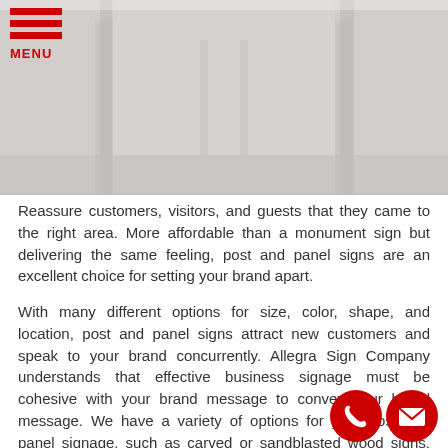[Figure (photo): A faded gray photograph showing a building exterior with white walls and architectural columns or posts, used as a hero banner image at the top of the page.]
Reassure customers, visitors, and guests that they came to the right area. More affordable than a monument sign but delivering the same feeling, post and panel signs are an excellent choice for setting your brand apart.
With many different options for size, color, shape, and location, post and panel signs attract new customers and speak to your brand concurrently. Allegra Sign Company understands that effective business signage must be cohesive with your brand message to convey your brand message. We have a variety of options for your post and panel signage, such as carved or sandblasted wood signs, curved or flat metal panels, PVC posts and LED